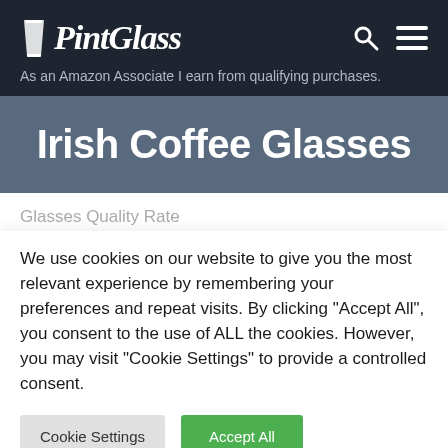PintGlass – As an Amazon Associate I earn from qualifying purchases.
Irish Coffee Glasses
Glasses Quality Rate
We use cookies on our website to give you the most relevant experience by remembering your preferences and repeat visits. By clicking "Accept All", you consent to the use of ALL the cookies. However, you may visit "Cookie Settings" to provide a controlled consent.